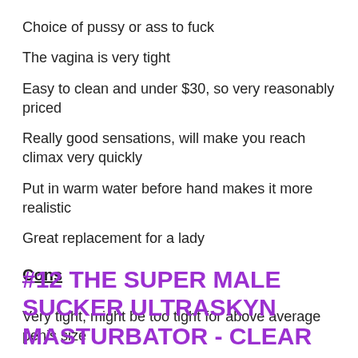Choice of pussy or ass to fuck
The vagina is very tight
Easy to clean and under $30, so very reasonably priced
Really good sensations, will make you reach climax very quickly
Put in warm water before hand makes it more realistic
Great replacement for a lady
Cons
Very tight, might be too tight for above average penis size
#12 THE SUPER MALE SUCKER ULTRASKYN MASTURBATOR - CLEAR